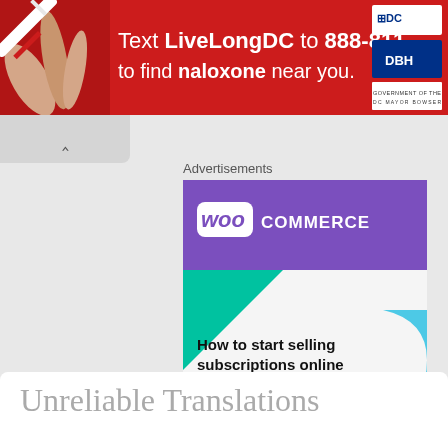[Figure (infographic): Red banner advertisement: Text LiveLongDC to 888-811 to find naloxone near you, with DC government logos on the right]
[Figure (infographic): WooCommerce advertisement banner: How to start selling subscriptions online, with Start a new store button]
Advertisements
Unreliable Translations